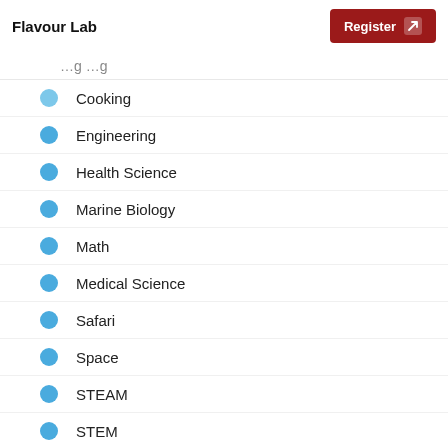Flavour Lab
Cooking
Engineering
Health Science
Marine Biology
Math
Medical Science
Safari
Space
STEAM
STEM
Zoology